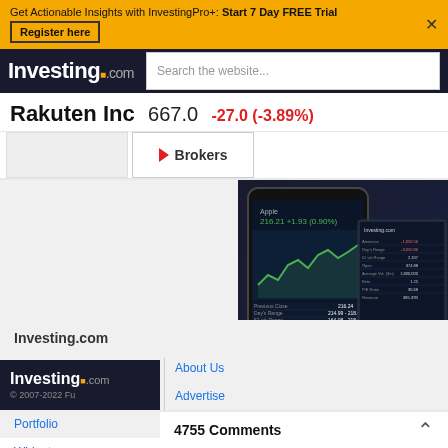Get Actionable Insights with InvestingPro+: Start 7 Day FREE Trial  Register here
Investing.com
Search the website...
Rakuten Inc  667.0  -27.0 (-3.89%)
Brokers
Investing.com
Blog
Mobile
Portfolio
Widgets
About Us
Advertise
Help & Support
Authors
[Figure (screenshot): Investing.com app screenshot showing Apple stock chart on mobile and desktop screens]
© 2007-2022 Fu...  Investing.com
4755 Comments